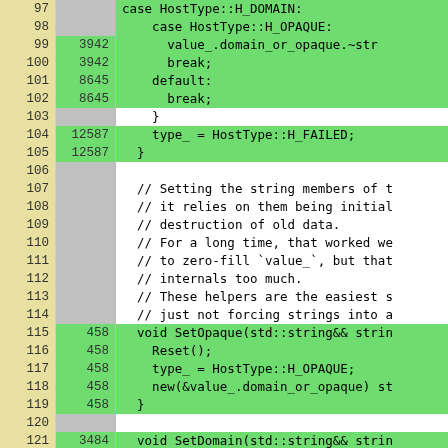[Figure (screenshot): Code coverage viewer showing C++ source lines 97-123 with line numbers (yellow column), hit counts (gray/green column), and source code (green/white background). Green rows are covered; white rows are uncovered.]